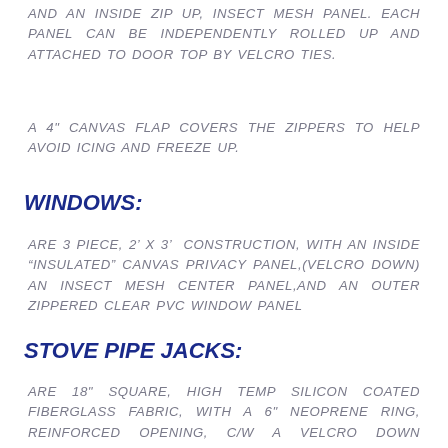AND AN INSIDE ZIP UP, INSECT MESH PANEL. EACH PANEL CAN BE INDEPENDENTLY ROLLED UP AND ATTACHED TO DOOR TOP BY VELCRO TIES.
A 4" CANVAS FLAP COVERS THE ZIPPERS TO HELP AVOID ICING AND FREEZE UP.
WINDOWS:
ARE 3 PIECE, 2' X 3'  CONSTRUCTION, WITH AN INSIDE "INSULATED" CANVAS PRIVACY PANEL,(VELCRO DOWN) AN INSECT MESH CENTER PANEL,AND AN OUTER ZIPPERED CLEAR PVC WINDOW PANEL
STOVE PIPE JACKS:
ARE 18" SQUARE, HIGH TEMP SILICON COATED FIBERGLASS FABRIC, WITH A 6" NEOPRENE RING, REINFORCED OPENING, C/W A VELCRO DOWN "INSULATED" CANVAS COVER PANEL